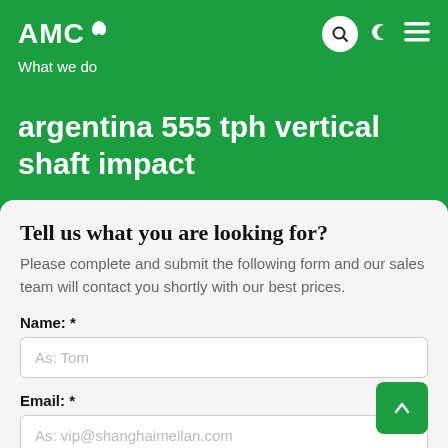AMC — What we do
argentina 555 tph vertical shaft impact
Tell us what you are looking for?
Please complete and submit the following form and our sales team will contact you shortly with our best prices.
Name: *
As: Tom
Email: *
As: vip@shanghaimeilan.com
Phone: *